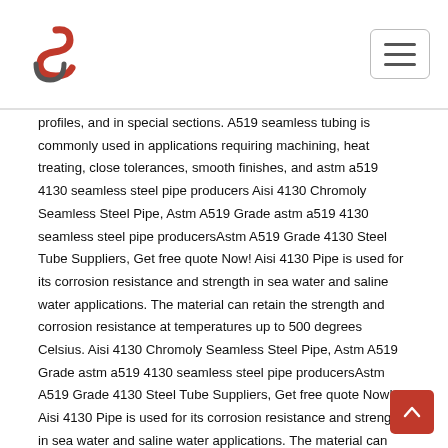Logo and navigation header
profiles, and in special sections. A519 seamless tubing is commonly used in applications requiring machining, heat treating, close tolerances, smooth finishes, and astm a519 4130 seamless steel pipe producers Aisi 4130 Chromoly Seamless Steel Pipe, Astm A519 Grade astm a519 4130 seamless steel pipe producersAstm A519 Grade 4130 Steel Tube Suppliers, Get free quote Now! Aisi 4130 Pipe is used for its corrosion resistance and strength in sea water and saline water applications. The material can retain the strength and corrosion resistance at temperatures up to 500 degrees Celsius. Aisi 4130 Chromoly Seamless Steel Pipe, Astm A519 Grade astm a519 4130 seamless steel pipe producersAstm A519 Grade 4130 Steel Tube Suppliers, Get free quote Now! Aisi 4130 Pipe is used for its corrosion resistance and strength in sea water and saline water applications. The material can retain the strength and corrosion resistance at temperatures up to 500 degrees Celsius. Aisi 4130 Pipe, Seamless A519 Grade 4130 Seamless...